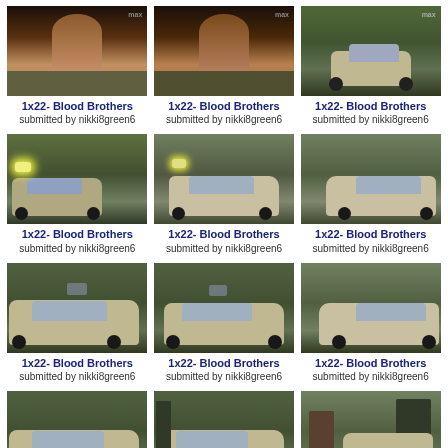[Figure (photo): TV show screenshot - woman with long hair inside car]
1x22- Blood Brothers
submitted by nikki8green6
[Figure (photo): TV show screenshot - woman with long hair inside car]
1x22- Blood Brothers
submitted by nikki8green6
[Figure (photo): TV show screenshot - car on road with trees]
1x22- Blood Brothers
submitted by nikki8green6
[Figure (photo): TV show screenshot - car with headlights on road]
1x22- Blood Brothers
submitted by nikki8green6
[Figure (photo): TV show screenshot - silver/grey car on road]
1x22- Blood Brothers
submitted by nikki8green6
[Figure (photo): TV show screenshot - silver SUV on road]
1x22- Blood Brothers
submitted by nikki8green6
[Figure (photo): TV show screenshot - silver SUV side view]
1x22- Blood Brothers
submitted by nikki8green6
[Figure (photo): TV show screenshot - silver SUV side view]
1x22- Blood Brothers
submitted by nikki8green6
[Figure (photo): TV show screenshot - silver SUV side view]
1x22- Blood Brothers
submitted by nikki8green6
[Figure (photo): TV show screenshot - silver SUV parked]
1x22- Blood Brothers
submitted by nikki8green6
[Figure (photo): TV show screenshot - silver SUV with logo]
1x22- Blood Brothers
submitted by nikki8green6
[Figure (photo): TV show screenshot - person next to car]
1x22- Blood Brothers
submitted by nikki8green6
[Figure (photo): TV show screenshot - outdoor scene with trees]
[Figure (photo): TV show screenshot - two people outdoors]
[Figure (photo): TV show screenshot - person near car door]